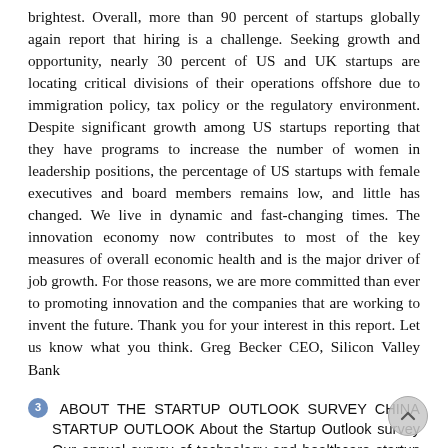brightest. Overall, more than 90 percent of startups globally again report that hiring is a challenge. Seeking growth and opportunity, nearly 30 percent of US and UK startups are locating critical divisions of their operations offshore due to immigration policy, tax policy or the regulatory environment. Despite significant growth among US startups reporting that they have programs to increase the number of women in leadership positions, the percentage of US startups with female executives and board members remains low, and little has changed. We live in dynamic and fast-changing times. The innovation economy now contributes to most of the key measures of overall economic health and is the major driver of job growth. For those reasons, we are more committed than ever to promoting innovation and the companies that are working to invent the future. Thank you for your interest in this report. Let us know what you think. Greg Becker CEO, Silicon Valley Bank
3 ABOUT THE STARTUP OUTLOOK SURVEY CHINA STARTUP OUTLOOK About the Startup Outlook survey Our annual survey of technology and healthcare startup executives offers insights into what is on the minds of